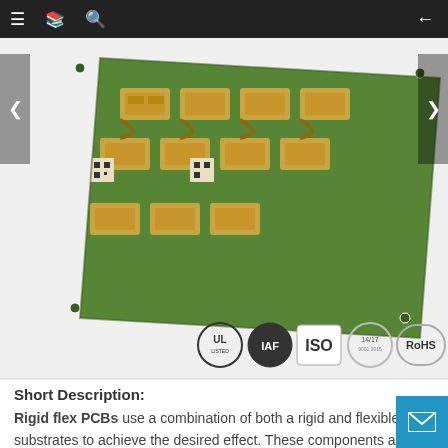Navigation bar with menu, document, search, and back icons
[Figure (photo): Green rigid-flex PCB board with multiple components, SMD parts, QR codes, and gold/copper connectors, photographed at an angle on a white background. Certification logos visible: UL, IAF, ISO, 14/17, RoHS.]
Short Description:
Rigid flex PCBs use a combination of both a rigid and flexible substrates to achieve the desired effect. These components are then laminated together to form a unified structure, allowing Rigid-Flex PCB’s to be manufactured produce the most interconnect solutions.